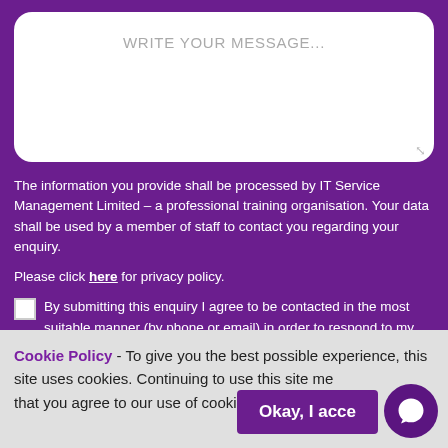[Figure (screenshot): Text area input field with placeholder text 'WRITE YOUR MESSAGE...' on a purple background]
The information you provide shall be processed by IT Service Management Limited – a professional training organisation. Your data shall be used by a member of staff to contact you regarding your enquiry.
Please click here for privacy policy.
By submitting this enquiry I agree to be contacted in the most suitable manner (by phone or email) in order to respond to my enquiry*
Cookie Policy - To give you the best possible experience, this site uses cookies. Continuing to use this site means that you agree to our use of cookies.